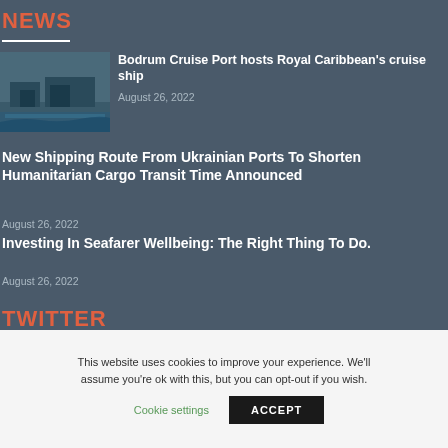NEWS
[Figure (photo): Aerial photo of a cruise port with ships docked]
Bodrum Cruise Port hosts Royal Caribbean's cruise ship
August 26, 2022
New Shipping Route From Ukrainian Ports To Shorten Humanitarian Cargo Transit Time Announced
August 26, 2022
Investing In Seafarer Wellbeing: The Right Thing To Do.
August 26, 2022
TWITTER
This website uses cookies to improve your experience. We'll assume you're ok with this, but you can opt-out if you wish.
Cookie settings
ACCEPT